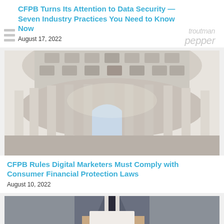CFPB Turns Its Attention to Data Security — Seven Industry Practices You Need to Know Now
August 17, 2022
[Figure (photo): Interior view of a government building rotunda with ornate columns and coffered dome ceiling]
CFPB Rules Digital Marketers Must Comply with Consumer Financial Protection Laws
August 10, 2022
[Figure (photo): Person in a suit holding documents, partially visible from chest down]